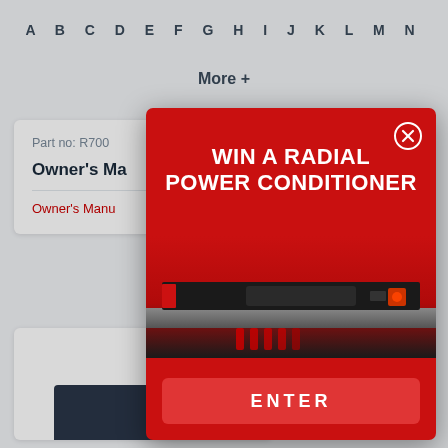A B C D E F G H I J K L M N
More +
Part no: R700
Owner's Ma
Owner's Manu
[Figure (screenshot): Modal popup overlay on a product documentation website. The modal has a red background with white bold uppercase text reading 'WIN A RADIAL POWER CONDITIONER', a close button (X in a circle) at top right, a photo of a Radial power conditioner rack unit, and a red 'ENTER' button at the bottom.]